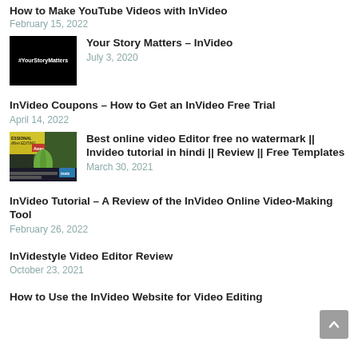How to Make YouTube Videos with InVideo
February 15, 2022
[Figure (screenshot): Black thumbnail with white text #YourStoryMatters]
Your Story Matters – InVideo
July 3, 2020
InVideo Coupons – How to Get an InVideo Free Trial
April 14, 2022
[Figure (screenshot): Video editor screenshot showing plant and editing interface with InVideo branding]
Best online video Editor free no watermark || Invideo tutorial in hindi || Review || Free Templates
March 30, 2021
InVideo Tutorial – A Review of the InVideo Online Video-Making Tool
February 26, 2022
InVidestyle Video Editor Review
October 23, 2021
How to Use the InVideo Website for Video Editing